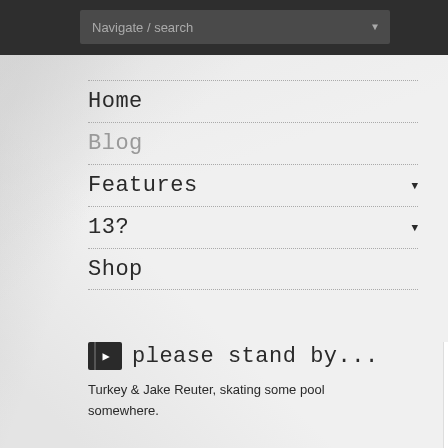Navigate / search
Home
Blog
Features
13?
Shop
please stand by...
Turkey & Jake Reuter, skating some pool somewhere.